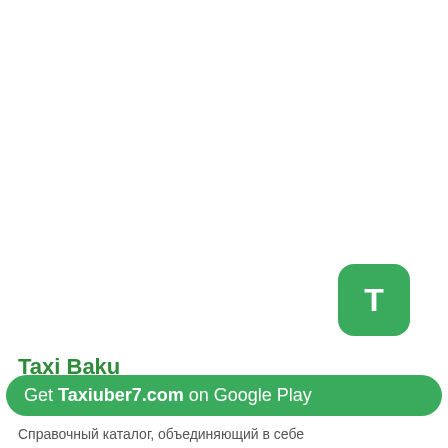[Figure (logo): Green rounded square app icon with white letter T]
Taxi Baku
Get Taxiuber7.com on Google Play
Справочный каталог, объединяющий в себе